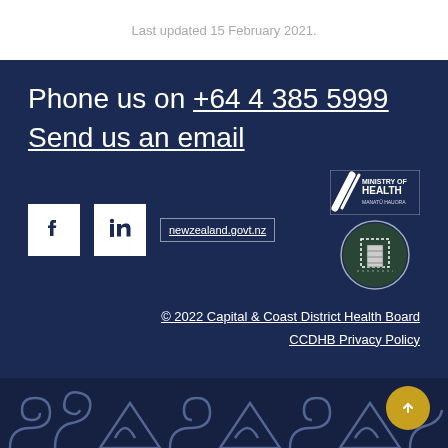Last updated 15 February 2021.
Phone us on +64 4 385 5999
Send us an email
[Figure (logo): Facebook icon (white F on white square background)]
[Figure (logo): LinkedIn icon (white 'in' on white square background)]
newzealand.govt.nz
[Figure (logo): Ministry of Health / Manatū Hauora logo with circular CCDHB emblem below]
© 2022 Capital & Coast District Health Board
CCDHB Privacy Policy
[Figure (illustration): Māori koru decorative pattern in light blue on dark navy blue background at the bottom of the page]